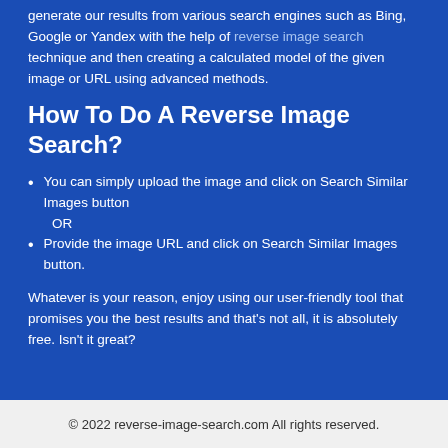generate our results from various search engines such as Bing, Google or Yandex with the help of reverse image search technique and then creating a calculated model of the given image or URL using advanced methods.
How To Do A Reverse Image Search?
You can simply upload the image and click on Search Similar Images button
OR
Provide the image URL and click on Search Similar Images button.
Whatever is your reason, enjoy using our user-friendly tool that promises you the best results and that's not all, it is absolutely free. Isn't it great?
© 2022 reverse-image-search.com All rights reserved.